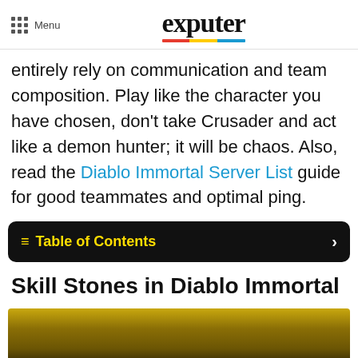Menu | exputer
entirely rely on communication and team composition. Play like the character you have chosen, don’t take Crusader and act like a demon hunter; it will be chaos. Also, read the Diablo Immortal Server List guide for good teammates and optimal ping.
Table of Contents
Skill Stones in Diablo Immortal
[Figure (photo): Partial image of a dark golden/brown game scene from Diablo Immortal at the bottom of the page]